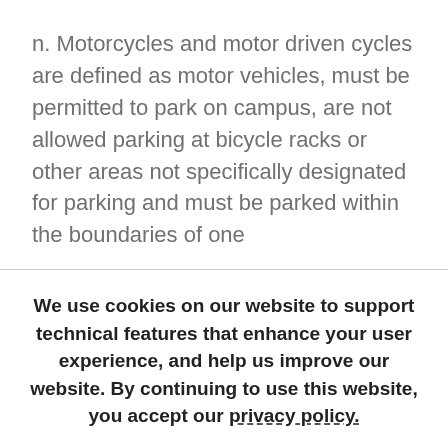n. Motorcycles and motor driven cycles are defined as motor vehicles, must be permitted to park on campus, are not allowed parking at bicycle racks or other areas not specifically designated for parking and must be parked within the boundaries of one
We use cookies on our website to support technical features that enhance your user experience, and help us improve our website. By continuing to use this website, you accept our privacy policy.